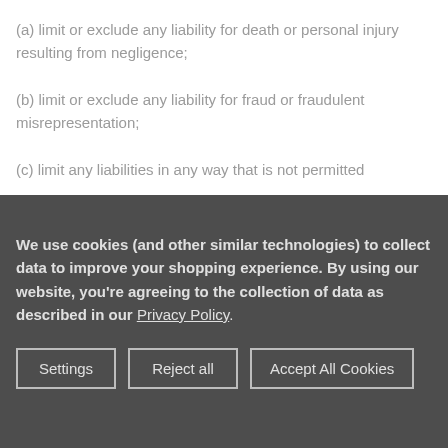(a) limit or exclude any liability for death or personal injury resulting from negligence;
(b) limit or exclude any liability for fraud or fraudulent misrepresentation;
(c) limit any liabilities in any way that is not permitted
We use cookies (and other similar technologies) to collect data to improve your shopping experience. By using our website, you're agreeing to the collection of data as described in our Privacy Policy.
Settings | Reject all | Accept All Cookies